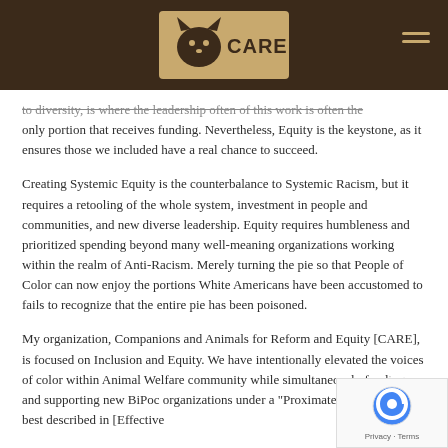CARE
to diversity, is where the leadership often of this work is often the only portion that receives funding. Nevertheless, Equity is the keystone, as it ensures those we included have a real chance to succeed.
Creating Systemic Equity is the counterbalance to Systemic Racism, but it requires a retooling of the whole system, investment in people and communities, and new diverse leadership. Equity requires humbleness and prioritized spending beyond many well-meaning organizations working within the realm of Anti-Racism. Merely turning the pie so that People of Color can now enjoy the portions White Americans have been accustomed to fails to recognize that the entire pie has been poisoned.
My organization, Companions and Animals for Reform and Equity [CARE], is focused on Inclusion and Equity. We have intentionally elevated the voices of color within Animal Welfare community while simultaneously funding and supporting new BiPoc organizations under a "Proximate Leader" model best described in [Effective...